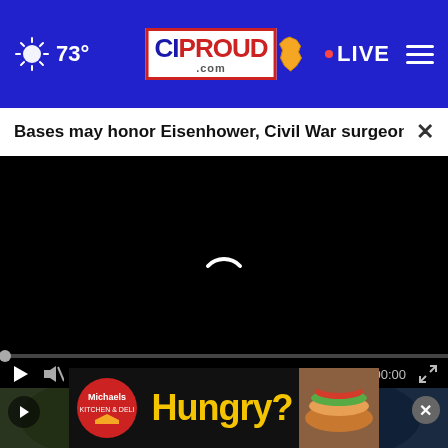73° CIPROUD.com LIVE
Bases may honor Eisenhower, Civil War surgeon, Bl...
[Figure (screenshot): Video player with black background, loading spinner (white arc), scrubber bar at 0:00, play, mute, fullscreen controls]
[Figure (screenshot): Thumbnail strip with two video previews side by side, and a Michaels Hungry? advertisement banner at the bottom]